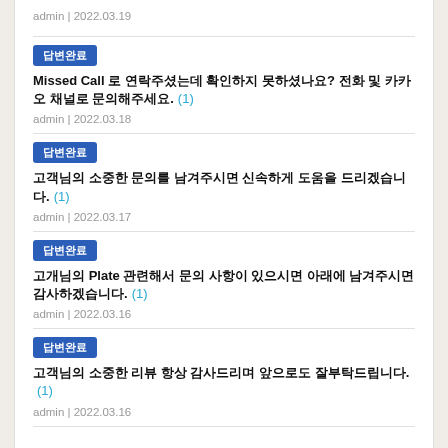admin | 2022.03.19
답변완료
Missed Call 로 연락주셨는데 확인하지 못하셨나요? 전화 및 카카오 채널로 문의해주세요. (1)
admin | 2022.03.18
답변완료
고객님의 소중한 문의를 남겨주시면 신속하게 도움을 드리겠습니다. (1)
admin | 2022.03.17
답변완료
고개님의 Plate 관련해서 문의 사항이 있으시면 아래에 남겨주시면 감사하겠습니다. (1)
admin | 2022.03.16
답변완료
고객님의 소중한 리뷰 항상 감사드리며 앞으로도 잘부탁드립니다. (1)
admin | 2022.03.16